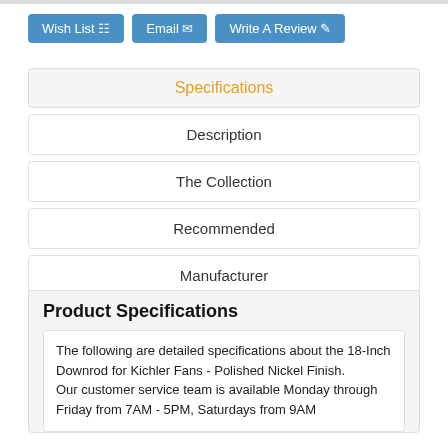[Figure (other): Three blue buttons: Wish List, Email, Write A Review]
Specifications
Description
The Collection
Recommended
Manufacturer
Product Specifications
The following are detailed specifications about the 18-Inch Downrod for Kichler Fans - Polished Nickel Finish.
Our customer service team is available Monday through Friday from 7AM - 5PM, Saturdays from 9AM